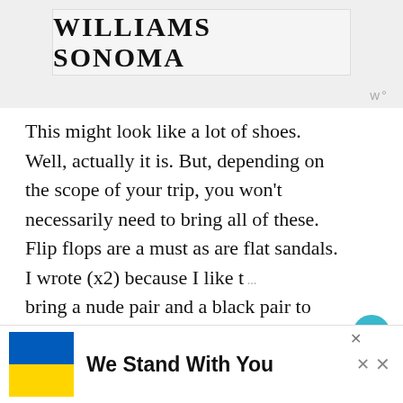[Figure (logo): Williams Sonoma logo/advertisement banner at top of page]
This might look like a lot of shoes. Well, actually it is. But, depending on the scope of your trip, you won't necessarily need to bring all of these. Flip flops are a must as are flat sandals. I wrote (x2) because I like to bring a nude pair and a black pair to match with my various dinner outfits. These also
[Figure (infographic): Advertisement banner at bottom: Ukrainian flag (blue and yellow) with text 'We Stand With You' and close buttons]